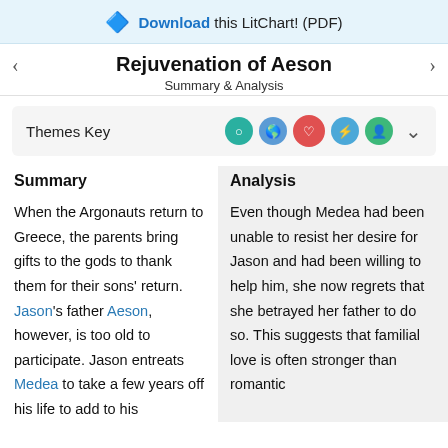Download this LitChart! (PDF)
Rejuvenation of Aeson
Summary & Analysis
Themes Key
Summary
Analysis
When the Argonauts return to Greece, the parents bring gifts to the gods to thank them for their sons' return. Jason's father Aeson, however, is too old to participate. Jason entreats Medea to take a few years off his life to add to his
Even though Medea had been unable to resist her desire for Jason and had been willing to help him, she now regrets that she betrayed her father to do so. This suggests that familial love is often stronger than romantic